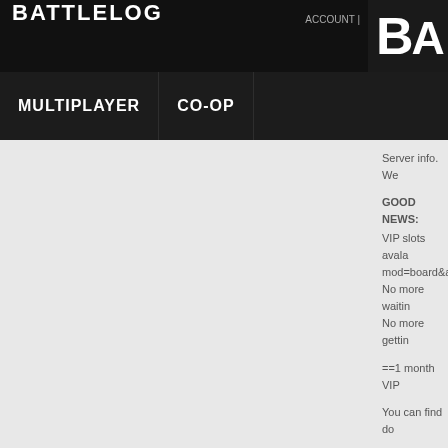BATTLELOG
BA
MULTIPLAYER   CO-OP
Server info. We

GOOD NEWS:
VIP slots avala
mod=board&ac
No more waitin
No more gettin

==1 month VIP

You can find do

-> In donate de
get your slot fa

SqeakyRocket
GirlDeaa http://
Bufu2k http://b